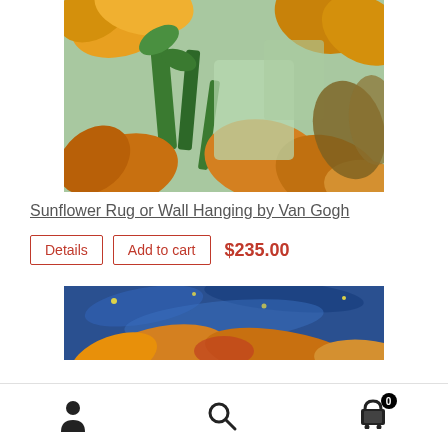[Figure (photo): Close-up detail of Van Gogh sunflowers painting showing orange, yellow, and green brushstrokes against mint green background]
Sunflower Rug or Wall Hanging by Van Gogh
Details  Add to cart  $235.00
[Figure (photo): Partial view of another Van Gogh painting with blue starry sky and orange/yellow sunflower petals]
User icon | Search icon | Cart icon with badge 0